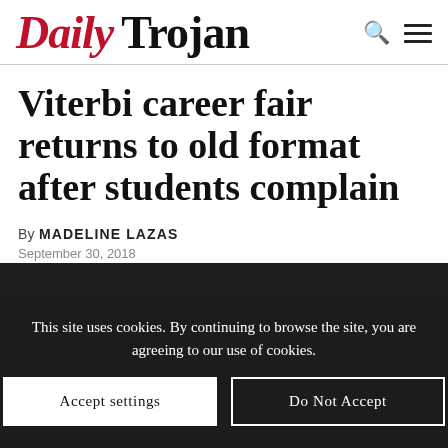Daily Trojan
Viterbi career fair returns to old format after students complain
By MADELINE LAZAS
September 30, 2018
This site uses cookies. By continuing to browse the site, you are agreeing to our use of cookies.
Accept settings
Do Not Accept